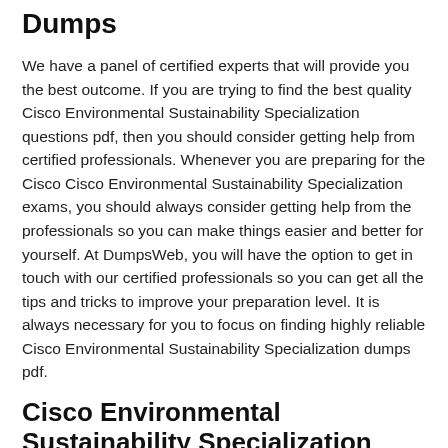Dumps
We have a panel of certified experts that will provide you the best outcome. If you are trying to find the best quality Cisco Environmental Sustainability Specialization questions pdf, then you should consider getting help from certified professionals. Whenever you are preparing for the Cisco Cisco Environmental Sustainability Specialization exams, you should always consider getting help from the professionals so you can make things easier and better for yourself. At DumpsWeb, you will have the option to get in touch with our certified professionals so you can get all the tips and tricks to improve your preparation level. It is always necessary for you to focus on finding highly reliable Cisco Environmental Sustainability Specialization dumps pdf.
Cisco Environmental Sustainability Specialization Exam Dumps Tailored to Your Needs
We are providing multiple products including Cisco Environmental Sustainability Specialization PDF files, detailed